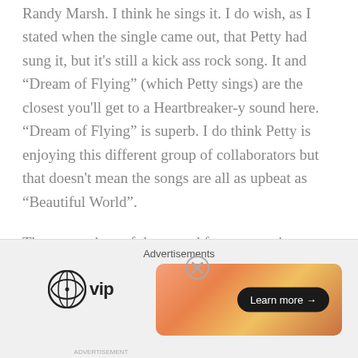Randy Marsh. I think he sings it. I do wish, as I stated when the single came out, that Petty had sung it, but it's still a kick ass rock song. It and “Dream of Flying” (which Petty sings) are the closest you'll get to a Heartbreaker-y sound here. “Dream of Flying” is superb. I do think Petty is enjoying this different group of collaborators but that doesn't mean the songs are all as upbeat as “Beautiful World”.
The centerpiece of the record for me remains “Hungry No More.” It’s a defiant song about resilience that makes Scarlett O’Hara’s vow to never be hungry again seem tame in comparison. Mike Campbell's
[Figure (other): Advertisement bar with WordPress VIP logo on the left and a gradient orange/peach banner ad with 'Learn more' button on the right. Label says 'Advertisements' at top.]